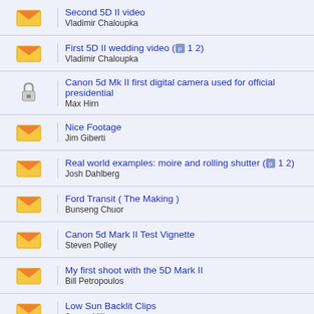Second 5D II video
Vladimir Chaloupka
First 5D II wedding video ( 1 2)
Vladimir Chaloupka
Canon 5d Mk II first digital camera used for official presidential
Max Hirn
Nice Footage
Jim Giberti
Real world examples: moire and rolling shutter ( 1 2)
Josh Dahlberg
Ford Transit ( The Making )
Bunseng Chuor
Canon 5d Mark II Test Vignette
Steven Polley
My first shoot with the 5D Mark II
Bill Petropoulos
Low Sun Backlit Clips
James Miller
The Last Outpost - Color Graded Narrative Short
Jon Fairhurst
My second video from Africa
Dan Chung
my first clips